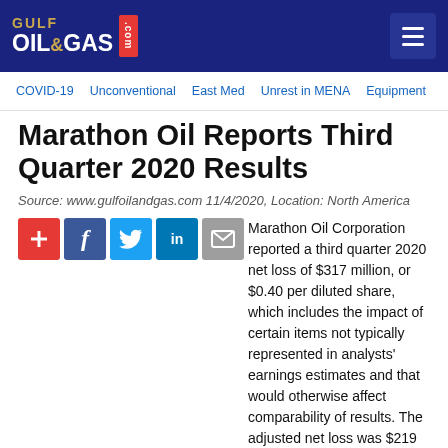Gulf Oil & Gas .com
COVID-19 | Unconventional | East Med | Unrest in MENA | Equipment
Marathon Oil Reports Third Quarter 2020 Results
Source: www.gulfoilandgas.com 11/4/2020, Location: North America
[Figure (infographic): Social sharing buttons: plus, Facebook, Twitter, LinkedIn, Email]
Marathon Oil Corporation reported a third quarter 2020 net loss of $317 million, or $0.40 per diluted share, which includes the impact of certain items not typically represented in analysts' earnings estimates and that would otherwise affect comparability of results. The adjusted net loss was $219 million, or $0.28 per diluted share. Net operating cash flow was $345 million, or $352 million before changes in working